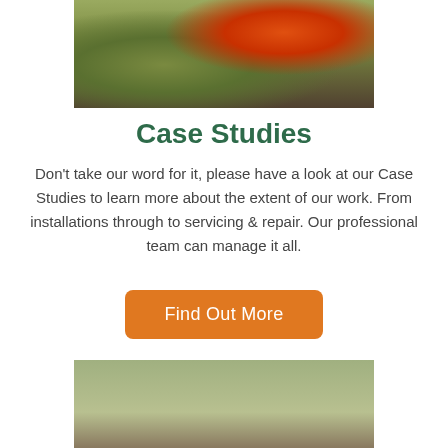[Figure (photo): Photo of a wood-burning stove with Union Jack design, with green apples nearby on a rustic surface]
Case Studies
Don't take our word for it, please have a look at our Case Studies to learn more about the extent of our work. From installations through to servicing & repair. Our professional team can manage it all.
[Figure (other): Orange button labeled 'Find Out More']
[Figure (photo): Photo of an outdoor wooden log store filled with chopped firewood, with a metal roof, beside a house]